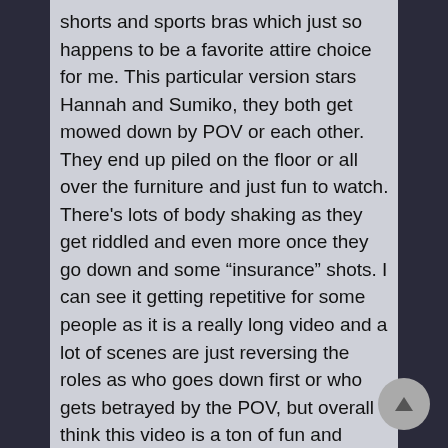shorts and sports bras which just so happens to be a favorite attire choice for me. This particular version stars Hannah and Sumiko, they both get mowed down by POV or each other. They end up piled on the floor or all over the furniture and just fun to watch. There's lots of body shaking as they get riddled and even more once they go down and some “insurance” shots. I can see it getting repetitive for some people as it is a really long video and a lot of scenes are just reversing the roles as who goes down first or who gets betrayed by the POV, but overall I think this video is a ton of fun and there’s lots of versions out there starring all sorts of people, some solo versions too. In my opinion, it just doesn’t get better than Sumiko and Hannah.